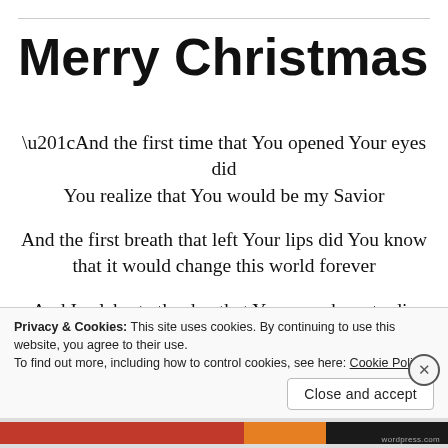Merry Christmas
“And the first time that You opened Your eyes did You realize that You would be my Savior

And the first breath that left Your lips did You know that it would change this world forever

And I celebrate the day that You were born to die
Privacy & Cookies: This site uses cookies. By continuing to use this website, you agree to their use.
To find out more, including how to control cookies, see here: Cookie Policy
Close and accept